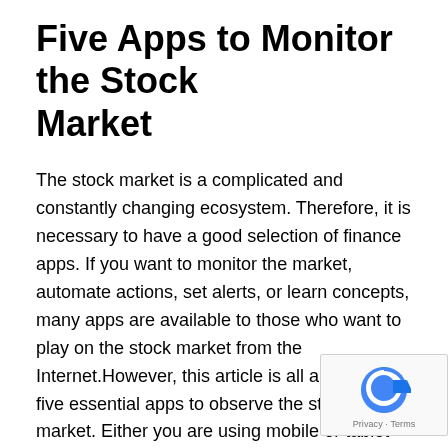Five Apps to Monitor the Stock Market
The stock market is a complicated and constantly changing ecosystem. Therefore, it is necessary to have a good selection of finance apps. If you want to monitor the market, automate actions, set alerts, or learn concepts, many apps are available to those who want to play on the stock market from the Internet.However, this article is all about the five essential apps to observe the stock market. Either you are using mobile or tablet for Android and iPhone, there are several applications to invest and follow the stock market news.
1. TD Ameritrade:
It is one of the basic apps if you plan to enter the stock market. Additionally, it allows you to access economic